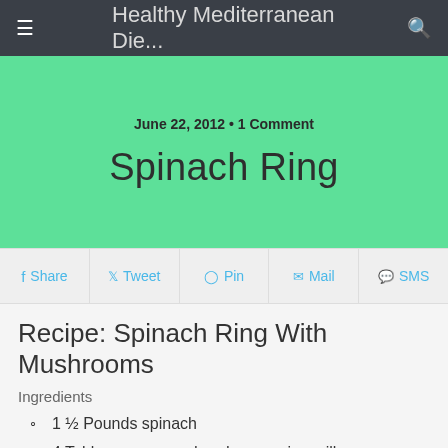Healthy Mediterranean Die...
June 22, 2012 • 1 Comment
Spinach Ring
Share  Tweet  Pin  Mail  SMS
Recipe: Spinach Ring With Mushrooms
Ingredients
1 ½ Pounds spinach
4 Tablespoons powdered soy or rice milk
1 Cup water